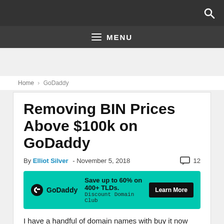MENU
Home › GoDaddy
Removing BIN Prices Above $100k on GoDaddy
By Elliot Silver - November 5, 2018  12
[Figure (other): GoDaddy advertisement banner: Save up to 60% on 400+ TLDs. Discount Domain Club. Learn More button.]
I have a handful of domain names with buy it now (BIN) prices above $100,000 on GoDaddy. My question is that if...